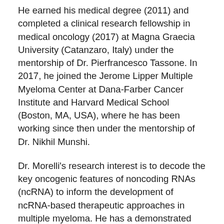He earned his medical degree (2011) and completed a clinical research fellowship in medical oncology (2017) at Magna Graecia University (Catanzaro, Italy) under the mentorship of Dr. Pierfrancesco Tassone. In 2017, he joined the Jerome Lipper Multiple Myeloma Center at Dana-Farber Cancer Institute and Harvard Medical School (Boston, MA, USA), where he has been working since then under the mentorship of Dr. Nikhil Munshi.
Dr. Morelli's research interest is to decode the key oncogenic features of noncoding RNAs (ncRNA) to inform the development of ncRNA-based therapeutic approaches in multiple myeloma. He has a demonstrated record of accomplished and productive research projects in this area of investigation, having pioneered the use of primary miRNA therapeutics of human cancer and generated the first comprehensive map of ncRNA dependencies